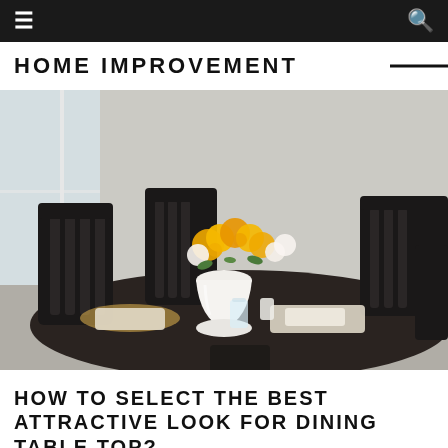HOME IMPROVEMENT
[Figure (photo): A dark wooden round dining table set with plates, bowls, a white vase with yellow and white roses, and dark wooden chairs around it, photographed indoors near a window.]
HOW TO SELECT THE BEST ATTRACTIVE LOOK FOR DINING TABLE TOP?